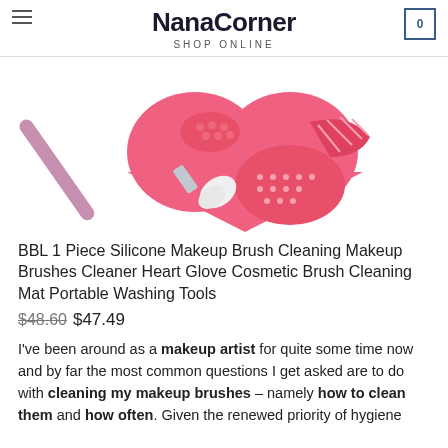NanaCorner SHOP ONLINE
[Figure (photo): A pink heart-shaped silicone makeup brush cleaning mat with a pink-handled makeup brush resting on it, showing various textured cleaning surfaces on a white background.]
BBL 1 Piece Silicone Makeup Brush Cleaning Makeup Brushes Cleaner Heart Glove Cosmetic Brush Cleaning Mat Portable Washing Tools
$48.60 $47.49
I've been around as a makeup artist for quite some time now and by far the most common questions I get asked are to do with cleaning my makeup brushes – namely how to clean them and how often. Given the renewed priority of hygiene